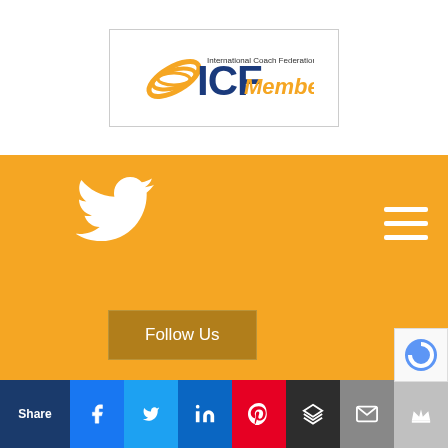[Figure (logo): ICF International Coach Federation Member badge logo with blue and gold colors]
[Figure (infographic): Orange banner with white Twitter bird icon, hamburger menu icon at right, and a 'Follow Us' button]
On the Blog
[Figure (infographic): Social sharing bar with Share label and Facebook, Twitter, LinkedIn, Pinterest, Buffer, Mail, and King social icons. Also reCAPTCHA badge visible at right.]